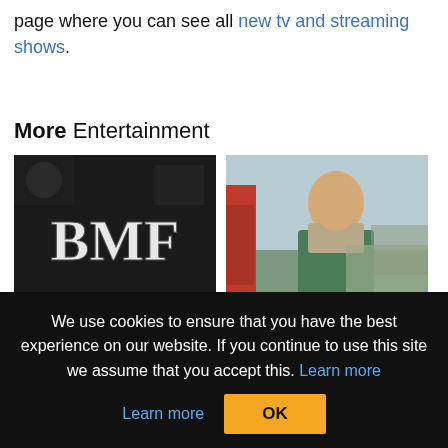page where you can see all new tv and streaming shows.
More Entertainment
[Figure (photo): Black and white promotional image for BMF (Black Mafia Family) with large stylized BMF letters]
BMF Cast & Characters, Season 2 Expectations...
[Figure (photo): Man in green jacket leaning against a red vehicle door, scene from Resident Alien]
Date Set: When Does Resident Alien Season 3...
We use cookies to ensure that you have the best experience on our website. If you continue to use this site we assume that you accept this. Learn more
OK